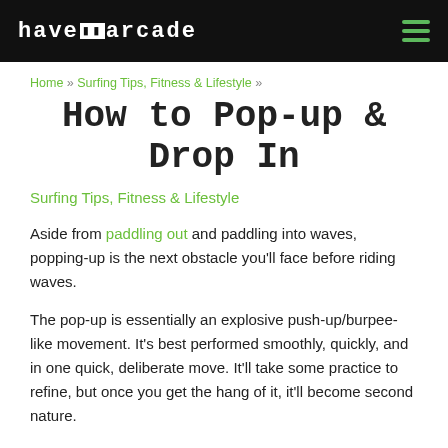have arcade [logo] — hamburger menu
Home » Surfing Tips, Fitness & Lifestyle »
How to Pop-up & Drop In
Surfing Tips, Fitness & Lifestyle
Aside from paddling out and paddling into waves, popping-up is the next obstacle you'll face before riding waves.
The pop-up is essentially an explosive push-up/burpee-like movement. It's best performed smoothly, quickly, and in one quick, deliberate move. It'll take some practice to refine, but once you get the hang of it, it'll become second nature.